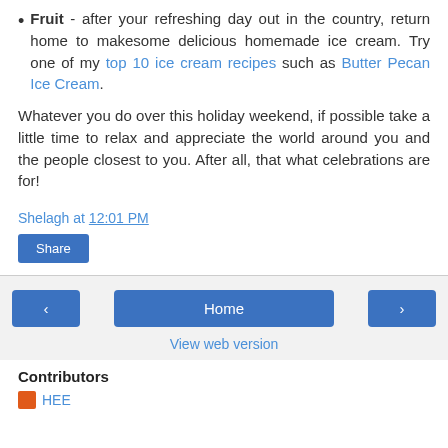Fruit - after your refreshing day out in the country, return home to makesome delicious homemade ice cream. Try one of my top 10 ice cream recipes such as Butter Pecan Ice Cream.
Whatever you do over this holiday weekend, if possible take a little time to relax and appreciate the world around you and the people closest to you. After all, that what celebrations are for!
Shelagh at 12:01 PM
Share
Home
View web version
Contributors
HEE